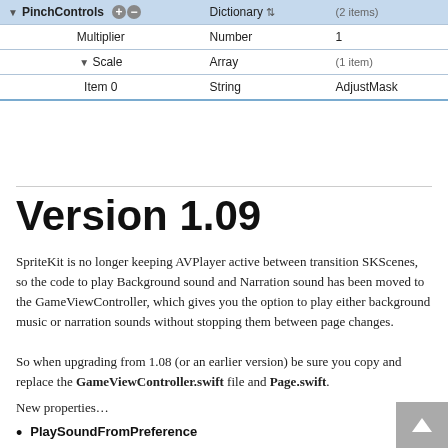| Key | Type | Value |
| --- | --- | --- |
| ▼ PinchControls | Dictionary ⇅ (2 items) |  |
| Multiplier | Number | 1 |
| ▼ Scale | Array | (1 item) |
| Item 0 | String | AdjustMask |
Version 1.09
SpriteKit is no longer keeping AVPlayer active between transition SKScenes, so the code to play Background sound and Narration sound has been moved to the GameViewController, which gives you the option to play either background music or narration sounds without stopping them between page changes.
So when upgrading from 1.08 (or an earlier version) be sure you copy and replace the GameViewController.swift file and Page.swift.
New properties…
PlaySoundFromPreference